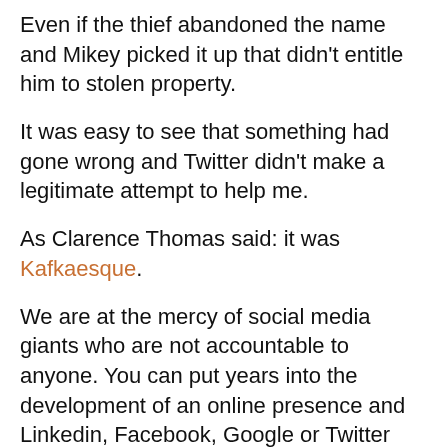Even if the thief abandoned the name and Mikey picked it up that didn't entitle him to stolen property.
It was easy to see that something had gone wrong and Twitter didn't make a legitimate attempt to help me.
As Clarence Thomas said: it was Kafkaesque.
We are at the mercy of social media giants who are not accountable to anyone. You can put years into the development of an online presence and Linkedin, Facebook, Google or Twitter can screw it up in a minute and you have no rights and no one to appeal to but them. You're at the mercy of their whims.
They don't even take phone calls. Call Twitter and see what happens. The receptionist acts like you've committed a crime.